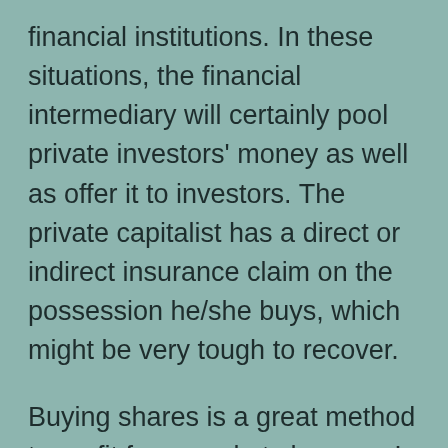financial institutions. In these situations, the financial intermediary will certainly pool private investors' money as well as offer it to investors. The private capitalist has a direct or indirect insurance claim on the possession he/she buys, which might be very tough to recover.
Buying shares is a great method to profit from market changes. In fact, constant investing is a superb method to make use of natural market changes. Dollar-cost averaging is an investment technique that can help you to lower your average share price gradually. But it does not constantly operate in down markets.